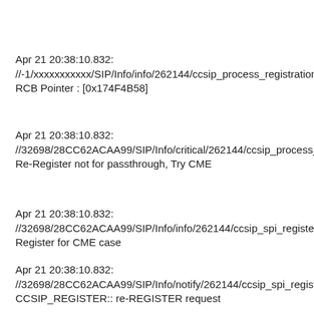Apr 21 20:38:10.832: //-1/xxxxxxxxxxx/SIP/Info/info/262144/ccsip_process_registration_passthrough: RCB Pointer : [0x174F4B58]
Apr 21 20:38:10.832: //32698/28CC62ACAA99/SIP/Info/critical/262144/ccsip_process_registration_passthrough: Re-Register not for passthrough, Try CME
Apr 21 20:38:10.832: //32698/28CC62ACAA99/SIP/Info/info/262144/ccsip_spi_register_incoming_registration: Register for CME case
Apr 21 20:38:10.832: //32698/28CC62ACAA99/SIP/Info/notify/262144/ccsip_spi_register_incoming_registration: CCSIP_REGISTER:: re-REGISTER request